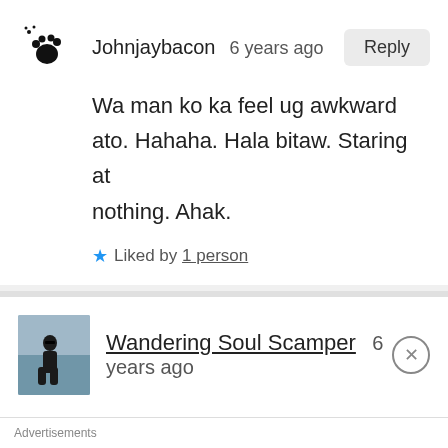Johnjaybacon  6 years ago
Wa man ko ka feel ug awkward ato. Hahaha. Hala bitaw. Staring at nothing. Ahak.
Liked by 1 person
Wandering Soul Scamper  6 years ago
Advertisements
Getting your team on the same page is easy. And free.